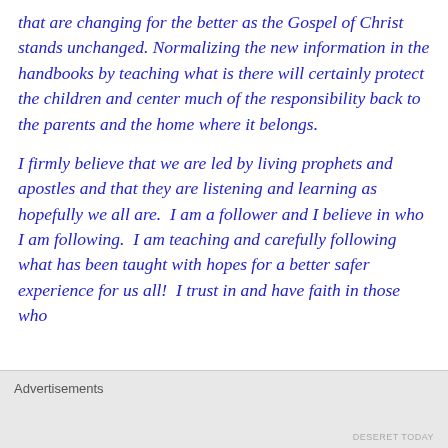that are changing for the better as the Gospel of Christ stands unchanged. Normalizing the new information in the handbooks by teaching what is there will certainly protect the children and center much of the responsibility back to the parents and the home where it belongs.
I firmly believe that we are led by living prophets and apostles and that they are listening and learning as hopefully we all are.  I am a follower and I believe in who I am following.  I am teaching and carefully following what has been taught with hopes for a better safer experience for us all!  I trust in and have faith in those who
Advertisements